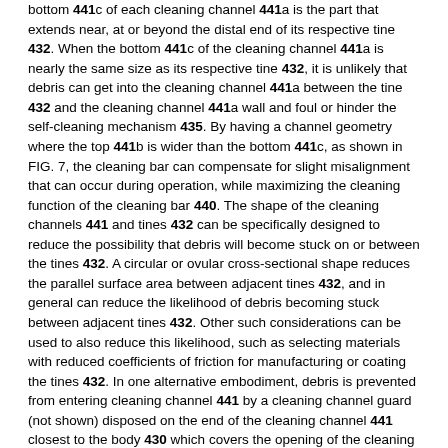bottom 441c of each cleaning channel 441a is the part that extends near, at or beyond the distal end of its respective tine 432. When the bottom 441c of the cleaning channel 441a is nearly the same size as its respective tine 432, it is unlikely that debris can get into the cleaning channel 441a between the tine 432 and the cleaning channel 441a wall and foul or hinder the self-cleaning mechanism 435. By having a channel geometry where the top 441b is wider than the bottom 441c, as shown in FIG. 7, the cleaning bar can compensate for slight misalignment that can occur during operation, while maximizing the cleaning function of the cleaning bar 440. The shape of the cleaning channels 441 and tines 432 can be specifically designed to reduce the possibility that debris will become stuck on or between the tines 432. A circular or ovular cross-sectional shape reduces the parallel surface area between adjacent tines 432, and in general can reduce the likelihood of debris becoming stuck between adjacent tines 432. Other such considerations can be used to also reduce this likelihood, such as selecting materials with reduced coefficients of friction for manufacturing or coating the tines 432. In one alternative embodiment, debris is prevented from entering cleaning channel 441 by a cleaning channel guard (not shown) disposed on the end of the cleaning channel 441 closest to the body 430 which covers the opening of the cleaning channel 441 but allows the cleaning bar to move along the tines 432.
FIGS. 8 and 9 illustrate an alternative extender 443 made of a flexible material to navigate the curvilinear extender channels 442 of the body 430.